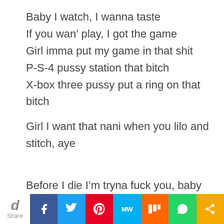Baby I watch, I wanna taste
If you wan' play, I got the game
Girl imma put my game in that shit
P-S-4 pussy station that bitch
X-box three pussy put a ring on that bitch
Girl I want that nani when you lilo and stitch, aye

Before I die I'm tryna fuck you, baby
Hopefully we don't have no babies
I don't even wanna go back home
Hop
Share [social share bar with Facebook, Twitter, Pinterest, MixW, Mix, WhatsApp, Share icons]